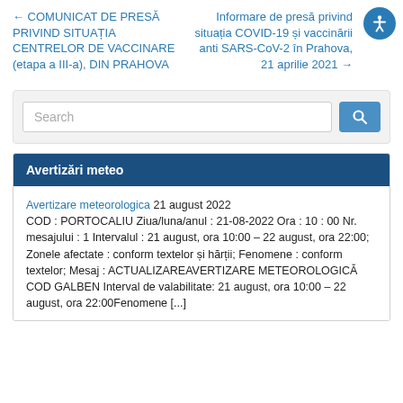← COMUNICAT DE PRESĂ PRIVIND SITUAȚIA CENTRELOR DE VACCINARE (etapa a III-a), DIN PRAHOVA
Informare de presă privind situația COVID-19 și vaccinării anti SARS-CoV-2 în Prahova, 21 aprilie 2021 →
Search
Avertizări meteo
Avertizare meteorologica 21 august 2022 COD : PORTOCALIU Ziua/luna/anul : 21-08-2022 Ora : 10 : 00 Nr. mesajului : 1 Intervalul : 21 august, ora 10:00 – 22 august, ora 22:00; Zonele afectate : conform textelor și hărții; Fenomene : conform textelor; Mesaj : ACTUALIZAREAVERTIZARE METEOROLOGICĂ COD GALBEN Interval de valabilitate: 21 august, ora 10:00 – 22 august, ora 22:00Fenomene [...]